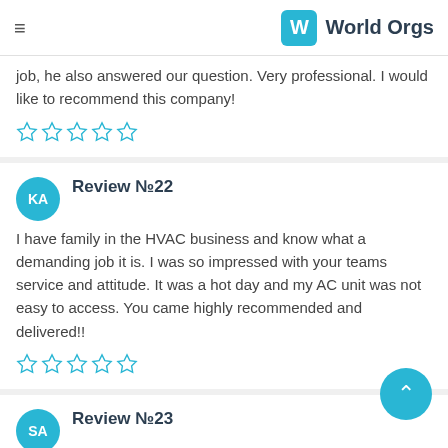World Orgs
job, he also answered our question. Very professional. I would like to recommend this company!
Review №22
I have family in the HVAC business and know what a demanding job it is. I was so impressed with your teams service and attitude. It was a hot day and my AC unit was not easy to access. You came highly recommended and delivered!!
Review №23